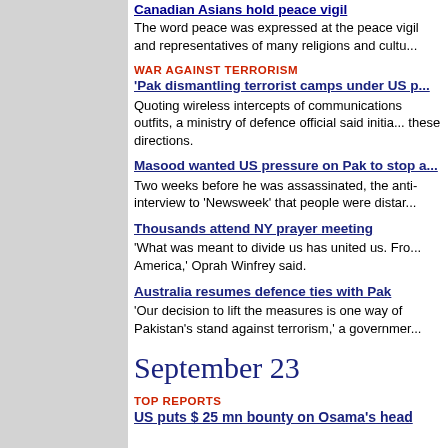Canadian Asians hold peace vigil
The word peace was expressed at the peace vigil and representatives of many religions and cultu...
WAR AGAINST TERRORISM
'Pak dismantling terrorist camps under US p...
Quoting wireless intercepts of communications outfits, a ministry of defence official said initia... these directions.
Masood wanted US pressure on Pak to stop a...
Two weeks before he was assassinated, the anti- interview to 'Newsweek' that people were distar...
Thousands attend NY prayer meeting
'What was meant to divide us has united us. Fro... America,' Oprah Winfrey said.
Australia resumes defence ties with Pak
'Our decision to lift the measures is one way of Pakistan's stand against terrorism,' a governmer...
September 23
TOP REPORTS
US puts $ 25 mn bounty on Osama's head